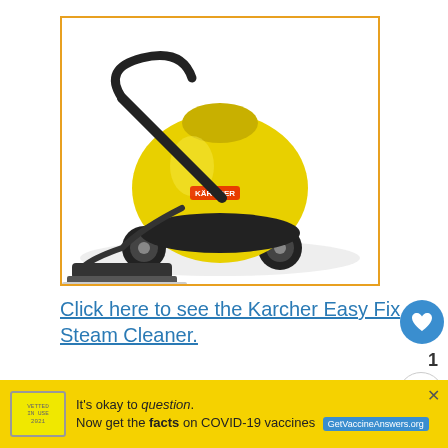[Figure (photo): Karcher Easy Fix Steam Cleaner product photo — yellow and black steam cleaner with long handle and floor attachment, on white background, inside orange-bordered box]
Click here to see the Karcher Easy Fix Steam Cleaner.
[Figure (photo): Worker in yellow hard hat and safety glasses looking at camera, with text overlay reading 'IT'S UP TO YOU'. This appears to be an advertisement image partially visible at bottom of page.]
[Figure (infographic): What's Next panel showing: '9 Of The Best Floor Grout...' with thumbnail image of floor grout cleaning]
[Figure (infographic): Yellow ad banner: 'It's okay to question. Now get the facts on COVID-19 vaccines' with GetVaccineAnswers.org button]